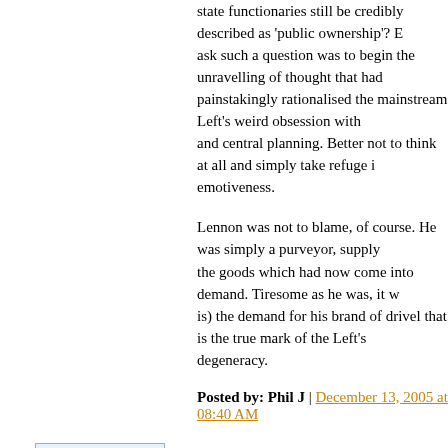state functionaries still be credibly described as 'public ownership'? E... ask such a question was to begin the unravelling of thought that had painstakingly rationalised the mainstream Left's weird obsession with and central planning. Better not to think at all and simply take refuge in emotiveness.
Lennon was not to blame, of course. He was simply a purveyor, supply... the goods which had now come into demand. Tiresome as he was, it w... is) the demand for his brand of drivel that is the true mark of the Left's degeneracy.
Posted by: Phil J | December 13, 2005 at 08:40 AM
[Figure (photo): Small square avatar image with blue/teal abstract network pattern on white background]
"Lennon was not to blame, of course. He was simply a purveyor, supp... the goods which had now come into demand. Tiresome as he was, it w... is) the demand for his brand of drivel that is the true mark of the Left's degeneracy."
Ah yes, that annoying old false consciousness of the proles again. If on... more of them had had the good sense to see through the shallowness o... people like Lennon. I mean, "I want to hold your hand" - just how exa... that going to bring about worker control of the means of production, distribution and exchange? As for 'I am the Walrus' - well, full marks f... environmental consciousness, but is 'goo goo goo joob' really the most...